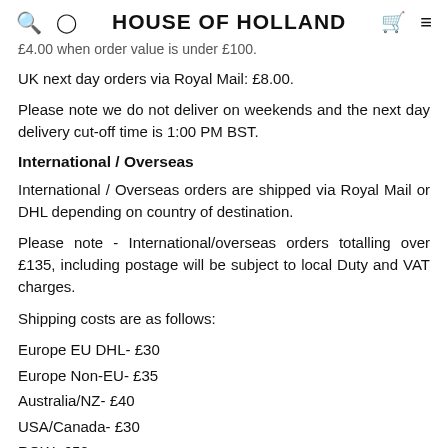HOUSE OF HOLLAND
£4.00 when order value is under £100.
UK next day orders via Royal Mail: £8.00.
Please note we do not deliver on weekends and the next day delivery cut-off time is 1:00 PM BST.
International / Overseas
International / Overseas orders are shipped via Royal Mail or DHL depending on country of destination.
Please note - International/overseas orders totalling over £135, including postage will be subject to local Duty and VAT charges.
Shipping costs are as follows:
Europe EU DHL- £30
Europe Non-EU- £35
Australia/NZ- £40
USA/Canada- £30
ROW- £50